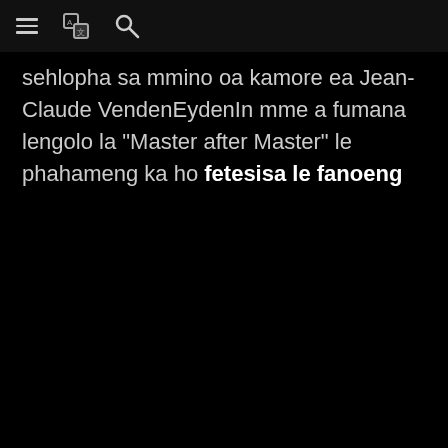[navigation bar with menu, translate, and search icons]
sehlopha sa mmino oa kamore ea Jean-Claude VendenEydenIn mme a fumana lengolo la "Master after Master" le phahameng ka ho fetesisa le fanoeng